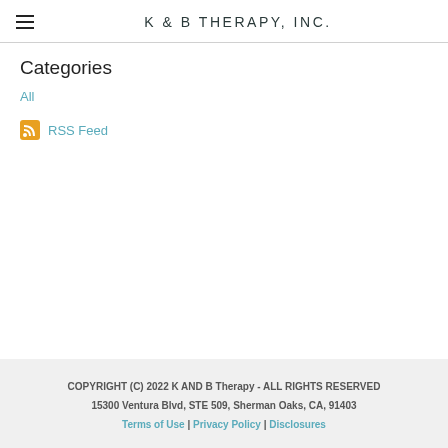K & B THERAPY, INC.
Categories
All
RSS Feed
COPYRIGHT (C) 2022 K AND B Therapy - ALL RIGHTS RESERVED
15300 Ventura Blvd, STE 509, Sherman Oaks, CA, 91403
Terms of Use | Privacy Policy | Disclosures